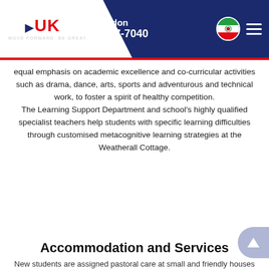London 020-7287-7040
equal emphasis on academic excellence and co-curricular activities such as drama, dance, arts, sports and adventurous and technical work, to foster a spirit of healthy competition. The Learning Support Department and school's highly qualified specialist teachers help students with specific learning difficulties through customised metacognitive learning strategies at the Weatherall Cottage.
Boarding School Service
Guarantee your child a place at a UK Boarding School with our Boarding School Application Service. Arrange your free consultation and get started today.
Accommodation and Services
New students are assigned pastoral care at small and friendly houses with houseparents. School's six main boarding houses